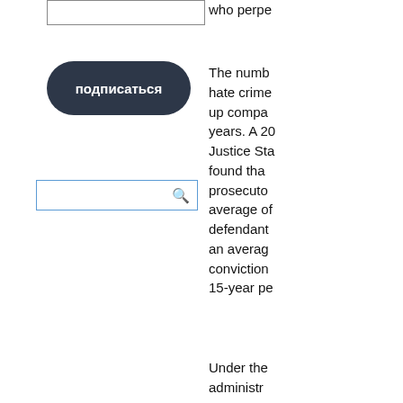[Figure (other): Input text box (empty, with border)]
[Figure (other): Dark rounded button with Cyrillic text 'подписаться' (subscribe)]
[Figure (other): Search input box with magnifying glass icon]
who perpe
The numb hate crime up compa years. A 20 Justice Sta found tha prosecuto average of defendant an averag conviction 15-year pe
Under the administr Departme